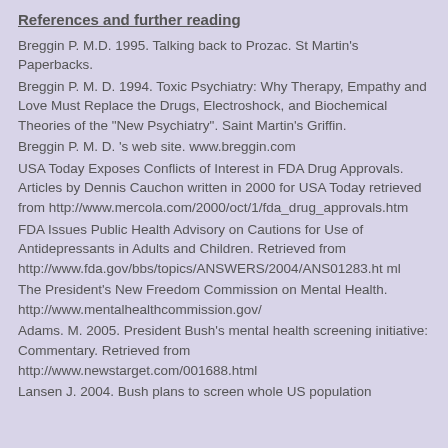References and further reading
Breggin P. M.D. 1995. Talking back to Prozac. St Martin's Paperbacks.
Breggin P. M. D. 1994. Toxic Psychiatry: Why Therapy, Empathy and Love Must Replace the Drugs, Electroshock, and Biochemical Theories of the "New Psychiatry". Saint Martin's Griffin.
Breggin P. M. D. 's web site. www.breggin.com
USA Today Exposes Conflicts of Interest in FDA Drug Approvals. Articles by Dennis Cauchon written in 2000 for USA Today retrieved from http://www.mercola.com/2000/oct/1/fda_drug_approvals.htm
FDA Issues Public Health Advisory on Cautions for Use of Antidepressants in Adults and Children. Retrieved from http://www.fda.gov/bbs/topics/ANSWERS/2004/ANS01283.html
The President's New Freedom Commission on Mental Health. http://www.mentalhealthcommission.gov/
Adams. M. 2005. President Bush's mental health screening initiative: Commentary. Retrieved from http://www.newstarget.com/001688.html
Lansen J. 2004. Bush plans to screen whole US population...